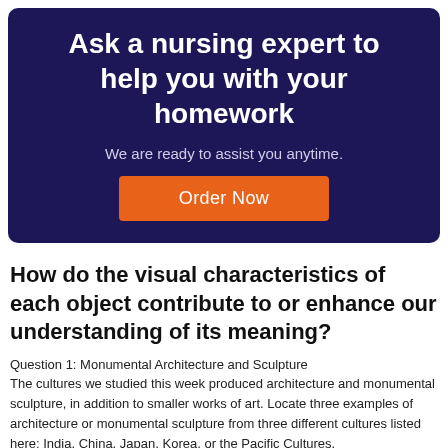[Figure (infographic): Dark navy blue banner with white bold title 'Ask a nursing expert to help you with your homework', subtitle 'We are ready to assist you anytime.', and an orange 'Order Now' button.]
How do the visual characteristics of each object contribute to or enhance our understanding of its meaning?
Question 1: Monumental Architecture and Sculpture
The cultures we studied this week produced architecture and monumental sculpture, in addition to smaller works of art. Locate three examples of architecture or monumental sculpture from three different cultures listed here: India, China, Japan, Korea, or the Pacific Cultures.
First, completely identify each structure or sculpture you would